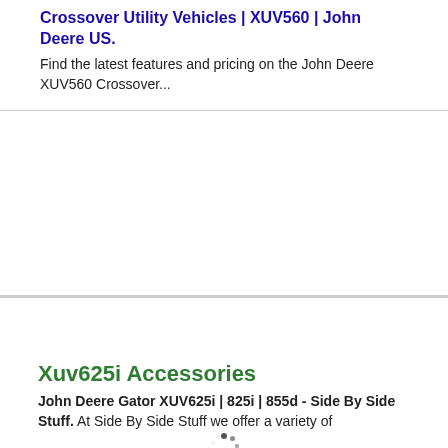Crossover Utility Vehicles | XUV560 | John Deere US.
Find the latest features and pricing on the John Deere XUV560 Crossover...
[Figure (other): Loading spinner graphic (animated dots in a circular arrangement), indicating content is loading]
Xuv625i Accessories
John Deere Gator XUV625i | 825i | 855d - Side By Side Stuff. At Side By Side Stuff we offer a variety of